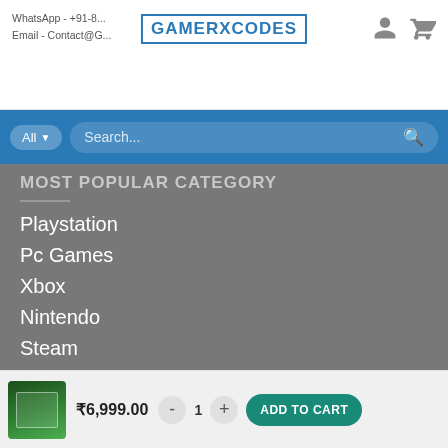WhatsApp - +91-8... | Email - Contact@G... | GAMERXCODES
Search...
MOST POPULAR CATEGORY
Playstation
Pc Games
Xbox
Nintendo
Steam
Fortnite
Apex Legends Coins
₹6,999.00  -  1  +  ADD TO CART